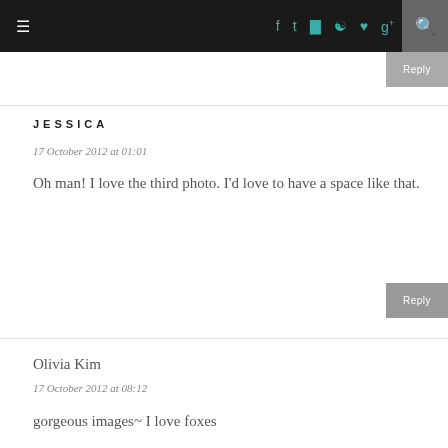≡  f  t  ⊡  ℗  ♥  g+  🔍
Reply
JESSICA
17 October 2012 at 01:01
Oh man! I love the third photo. I'd love to have a space like that.
Reply
Olivia Kim
17 October 2012 at 08:12
gorgeous images~ I love foxes